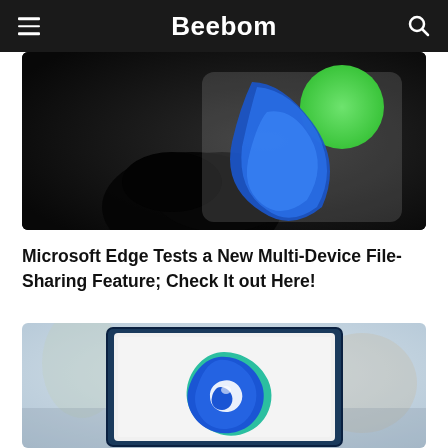Beebom
[Figure (photo): A hand holding a smartphone displaying app icons including what appears to be the Microsoft Edge logo (blue and green swirl shapes) against a dark background.]
Microsoft Edge Tests a New Multi-Device File-Sharing Feature; Check It out Here!
[Figure (photo): A laptop screen displaying the Microsoft Edge browser logo — a blue and green wave/swirl icon — on a light grey background, with a blurred office environment behind.]